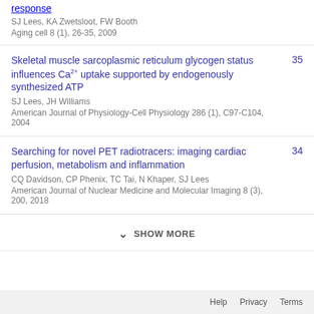response
SJ Lees, KA Zwetsloot, FW Booth
Aging cell 8 (1), 26-35, 2009
Skeletal muscle sarcoplasmic reticulum glycogen status influences Ca2+ uptake supported by endogenously synthesized ATP
SJ Lees, JH Williams
American Journal of Physiology-Cell Physiology 286 (1), C97-C104, 2004
35
Searching for novel PET radiotracers: imaging cardiac perfusion, metabolism and inflammation
CQ Davidson, CP Phenix, TC Tai, N Khaper, SJ Lees
American Journal of Nuclear Medicine and Molecular Imaging 8 (3), 200, 2018
34
SHOW MORE
Help   Privacy   Terms